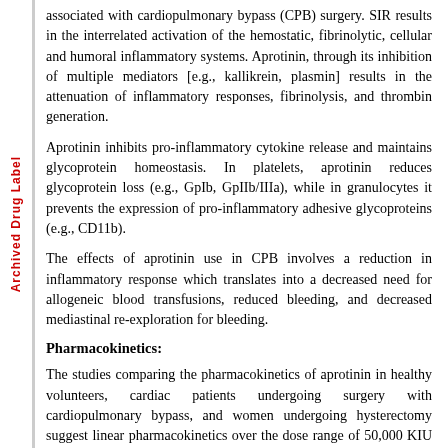Archived Drug Label
associated with cardiopulmonary bypass (CPB) surgery. SIR results in the interrelated activation of the hemostatic, fibrinolytic, cellular and humoral inflammatory systems. Aprotinin, through its inhibition of multiple mediators [e.g., kallikrein, plasmin] results in the attenuation of inflammatory responses, fibrinolysis, and thrombin generation.
Aprotinin inhibits pro-inflammatory cytokine release and maintains glycoprotein homeostasis. In platelets, aprotinin reduces glycoprotein loss (e.g., GpIb, GpIIb/IIIa), while in granulocytes it prevents the expression of pro-inflammatory adhesive glycoproteins (e.g., CD11b).
The effects of aprotinin use in CPB involves a reduction in inflammatory response which translates into a decreased need for allogeneic blood transfusions, reduced bleeding, and decreased mediastinal re-exploration for bleeding.
Pharmacokinetics:
The studies comparing the pharmacokinetics of aprotinin in healthy volunteers, cardiac patients undergoing surgery with cardiopulmonary bypass, and women undergoing hysterectomy suggest linear pharmacokinetics over the dose range of 50,000 KIU to 2 million KIU. After intravenous (IV) injection, rapid distribution of aprotinin occurs into the total extracellular space, leading to a rapid initial decrease in